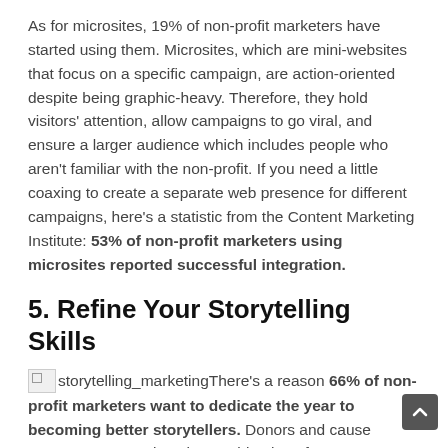As for microsites, 19% of non-profit marketers have started using them. Microsites, which are mini-websites that focus on a specific campaign, are action-oriented despite being graphic-heavy. Therefore, they hold visitors' attention, allow campaigns to go viral, and ensure a larger audience which includes people who aren't familiar with the non-profit. If you need a little coaxing to create a separate web presence for different campaigns, here's a statistic from the Content Marketing Institute: 53% of non-profit marketers using microsites reported successful integration.
5. Refine Your Storytelling Skills
There's a reason 66% of non-profit marketers want to dedicate the year to becoming better storytellers. Donors and cause supporters appreciate the combination of success, urgency, statistics, quotes and humor over marketing materials. Besides, storytelling over a long time ensures that the non-profit's brand becomes synonymous with the cause(s) you advocate. Therefore, marketers should have four out of five posts, updates or tweets related to storytelling.